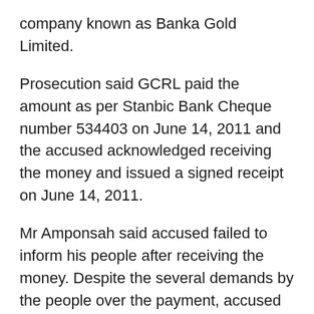company known as Banka Gold Limited.
Prosecution said GCRL paid the amount as per Stanbic Bank Cheque number 534403 on June 14, 2011 and the accused acknowledged receiving the money and issued a signed receipt on June 14, 2011.
Mr Amponsah said accused failed to inform his people after receiving the money. Despite the several demands by the people over the payment, accused denied receiving the money and as such reported the matter to the Police.
In the accused person's statement to the Police, he admitted receiving the money, saying the